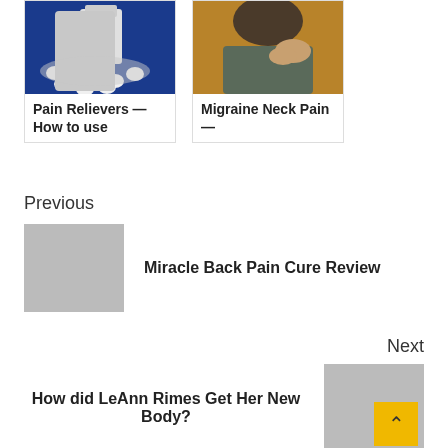[Figure (photo): Photo of pill bottle with white pills on blue surface, card thumbnail]
Pain Relievers — How to use
[Figure (photo): Photo of person holding back of neck in pain, card thumbnail]
Migraine Neck Pain —
Previous
[Figure (photo): Gray placeholder thumbnail image for previous article]
Miracle Back Pain Cure Review
Next
How did LeAnn Rimes Get Her New Body?
[Figure (photo): Gray placeholder thumbnail with yellow up-arrow button for next article]